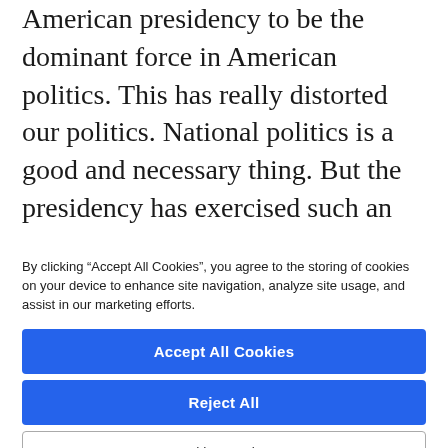American presidency to be the dominant force in American politics. This has really distorted our politics. National politics is a good and necessary thing. But the presidency has exercised such an overwhelming influence on the psychology of the American people that everything has been nationalized. A great example is Republicans across the country
By clicking “Accept All Cookies”, you agree to the storing of cookies on your device to enhance site navigation, analyze site usage, and assist in our marketing efforts.
Accept All Cookies
Reject All
Cookies Settings